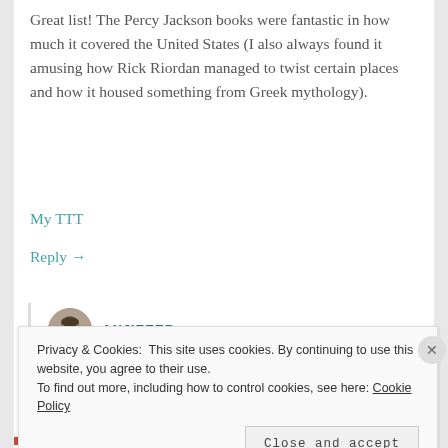Great list! The Percy Jackson books were fantastic in how much it covered the United States (I also always found it amusing how Rick Riordan managed to twist certain places and how it housed something from Greek mythology).
My TTT
Reply →
[Figure (photo): Small circular avatar photo of a woman with dark hair]
ANJIEEEB
Privacy & Cookies: This site uses cookies. By continuing to use this website, you agree to their use. To find out more, including how to control cookies, see here: Cookie Policy
Close and accept